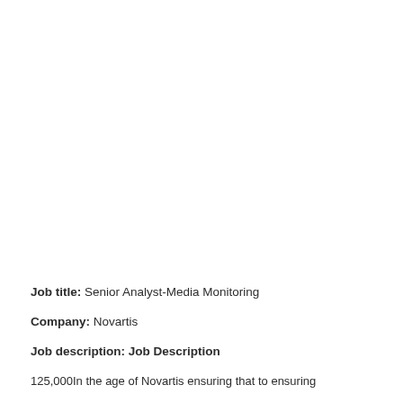Job title: Senior Analyst-Media Monitoring
Company: Novartis
Job description: Job Description
125,000In the age of Novartis, ensuring that...